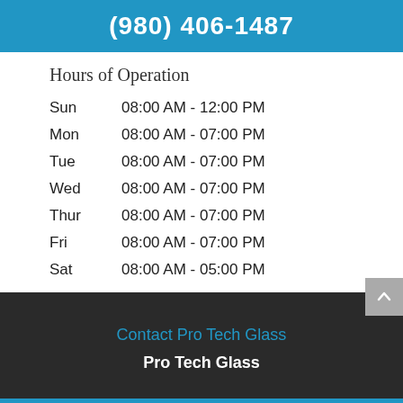(980) 406-1487
Hours of Operation
| Day | Hours |
| --- | --- |
| Sun | 08:00 AM - 12:00 PM |
| Mon | 08:00 AM - 07:00 PM |
| Tue | 08:00 AM - 07:00 PM |
| Wed | 08:00 AM - 07:00 PM |
| Thur | 08:00 AM - 07:00 PM |
| Fri | 08:00 AM - 07:00 PM |
| Sat | 08:00 AM - 05:00 PM |
Contact Pro Tech Glass
Pro Tech Glass
HOURS   MAP